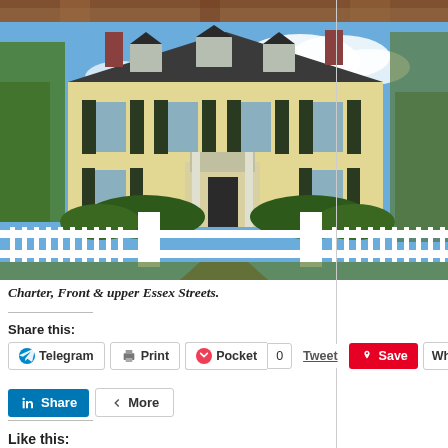[Figure (photo): Partial image at top of page showing brown/brick architectural detail]
[Figure (photo): Photograph of a large yellow colonial-style house with dark shutters, white picket fence, gate pillars, and a path leading to the front door. Surrounded by trees and manicured hedges under a partly cloudy blue sky.]
Charter, Front & upper Essex Streets.
Share this:
Telegram  Print  Pocket  0  Tweet  Save  Wha...
Share  More
Like this: